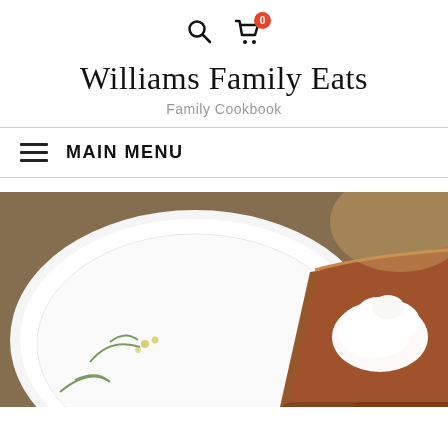Williams Family Eats — Family Cookbook
MAIN MENU
[Figure (photo): A close-up photo of a decorated white plate with floral/leaf motifs, holding a slice of pie topped with whipped cream, on a brown textured surface.]